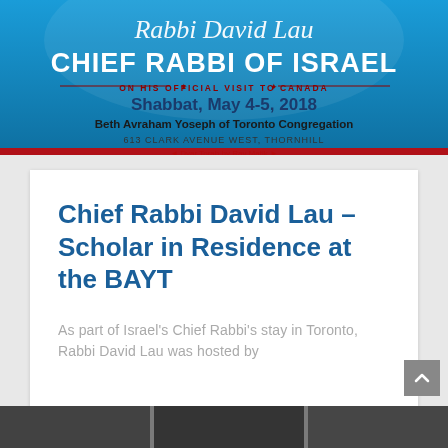[Figure (illustration): Promotional banner for Rabbi David Lau, Chief Rabbi of Israel, on his official visit to Canada. Blue background with text including 'Rabbi David Lau' in cursive script, 'CHIEF RABBI OF ISRAEL' in large white bold text, 'ON HIS OFFICIAL VISIT TO CANADA' in dark red, 'Shabbat, May 4-5, 2018' in blue bold, 'Beth Avraham Yoseph of Toronto Congregation' in dark bold, '613 CLARK AVENUE WEST, THORNHILL' in small caps.]
Chief Rabbi David Lau – Scholar in Residence at the BAYT
As part of Israel's Chief Rabbi's stay in Toronto, Rabbi David Lau was hosted by
READ MORE »